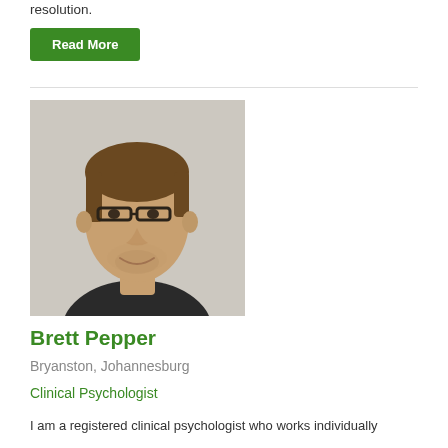resolution.
Read More
[Figure (photo): Headshot photo of Brett Pepper, a young man with brown hair, glasses, and a dark shirt, against a light textured wall background.]
Brett Pepper
Bryanston, Johannesburg
Clinical Psychologist
I am a registered clinical psychologist who works individually